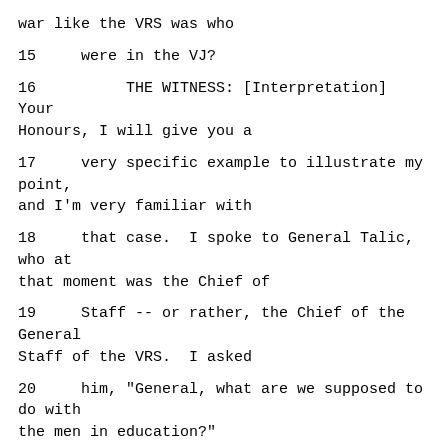war like the VRS was who
15     were in the VJ?
16          THE WITNESS: [Interpretation] Your Honours, I will give you a
17     very specific example to illustrate my point, and I'm very familiar with
18     that case.  I spoke to General Talic, who at that moment was the Chief of
19     Staff -- or rather, the Chief of the General Staff of the VRS.  I asked
20     him, "General, what are we supposed to do with the men in education?"
21     And he said, "Skrbic, let them go to war,